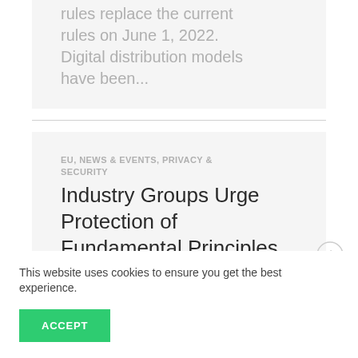rules replace the current rules on June 1, 2022. Digital distribution models have been...
EU, NEWS & EVENTS, PRIVACY & SECURITY
Industry Groups Urge Protection of Fundamental Principles and Rights in the Digital Services Act
This website uses cookies to ensure you get the best experience.
ACCEPT